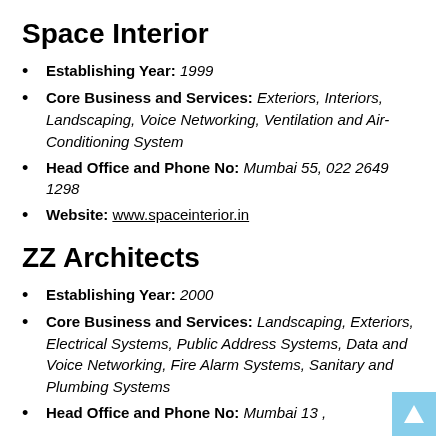Space Interior
Establishing Year: 1999
Core Business and Services: Exteriors, Interiors, Landscaping, Voice Networking, Ventilation and Air-Conditioning System
Head Office and Phone No: Mumbai 55, 022 2649 1298
Website: www.spaceinterior.in
ZZ Architects
Establishing Year: 2000
Core Business and Services: Landscaping, Exteriors, Electrical Systems, Public Address Systems, Data and Voice Networking, Fire Alarm Systems, Sanitary and Plumbing Systems
Head Office and Phone No: Mumbai 13 ,